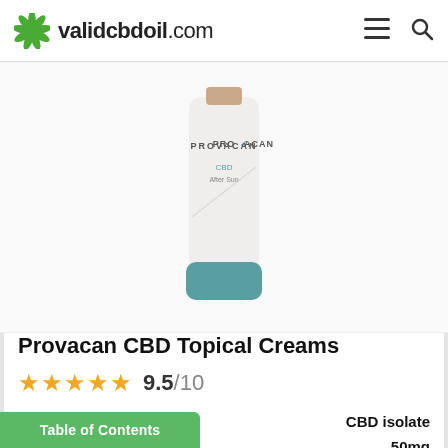validcbdoil.com
[Figure (photo): Provacan CBD After Sun cream tube, white with teal cap, standing upright]
Provacan CBD Topical Creams
9.5/10 (5 stars rating)
| Attribute | Value |
| --- | --- |
| CBD Type: | CBD isolate |
| CBD Potency: | 50mg |
| Size: | 100ml |
Table of Contents